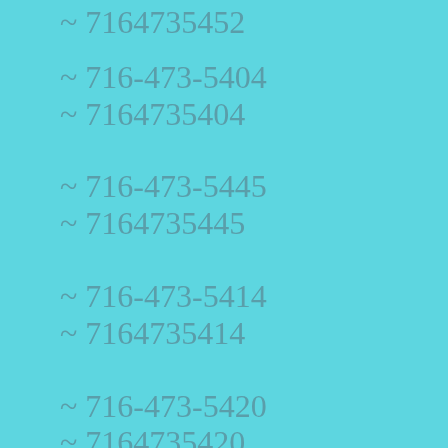~ 7164735452
~ 716-473-5404
~ 7164735404
~ 716-473-5445
~ 7164735445
~ 716-473-5414
~ 7164735414
~ 716-473-5420
~ 7164735420